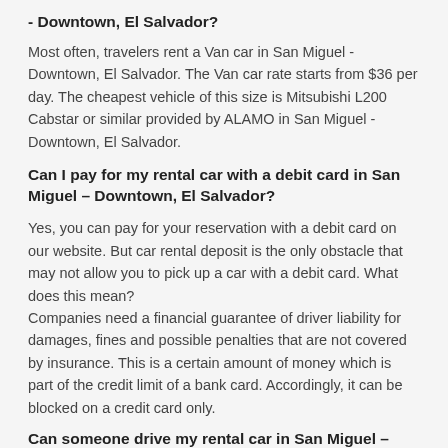- Downtown, El Salvador?
Most often, travelers rent a Van car in San Miguel - Downtown, El Salvador. The Van car rate starts from $36 per day. The cheapest vehicle of this size is Mitsubishi L200 Cabstar or similar provided by ALAMO in San Miguel - Downtown, El Salvador.
Can I pay for my rental car with a debit card in San Miguel – Downtown, El Salvador?
Yes, you can pay for your reservation with a debit card on our website. But car rental deposit is the only obstacle that may not allow you to pick up a car with a debit card. What does this mean?
Companies need a financial guarantee of driver liability for damages, fines and possible penalties that are not covered by insurance. This is a certain amount of money which is part of the credit limit of a bank card. Accordingly, it can be blocked on a credit card only.
Can someone drive my rental car in San Miguel – Downtown, El Salvador?